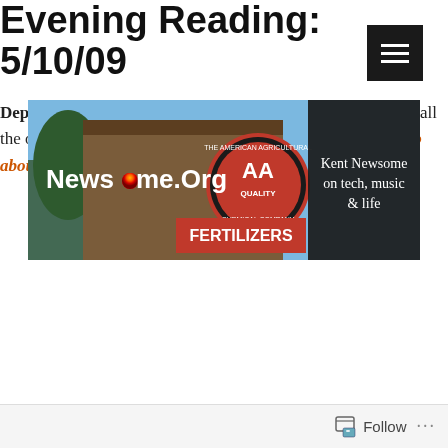[Figure (screenshot): Dark hamburger menu button icon (three white horizontal lines on black background), top right corner]
[Figure (photo): Banner image for Newsome.Org blog showing a blue sky with trees and a building with an AA Quality Fertilizers sign. Text overlay: 'News-me.Org' and 'Kent Newsome on tech, music & life']
Evening Reading: 5/10/09
Department of Holidays: Happy Mother's Day to Raina and all the other moms out there.  Here's my post from two years ago about my mom.
Dollhouse Department: I was pretty
Follow ...